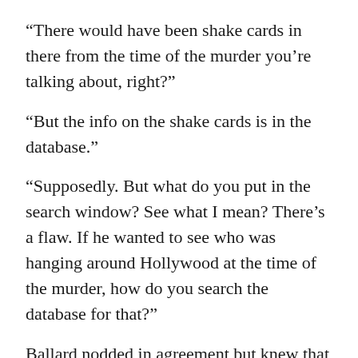“There would have been shake cards in there from the time of the murder you’re talking about, right?”
“But the info on the shake cards is in the database.”
“Supposedly. But what do you put in the search window? See what I mean? There’s a flaw. If he wanted to see who was hanging around Hollywood at the time of the murder, how do you search the database for that?”
Ballard nodded in agreement but knew that there were many ways to pull up info on field interviews in the database by geography and time frame. She thought Rivera was wrong about that but probably right about Bosch. He was an old-school detective. He wanted to look through the shakes to see who the street cops in Hollywood were talking to at the time of the Clayton murder.